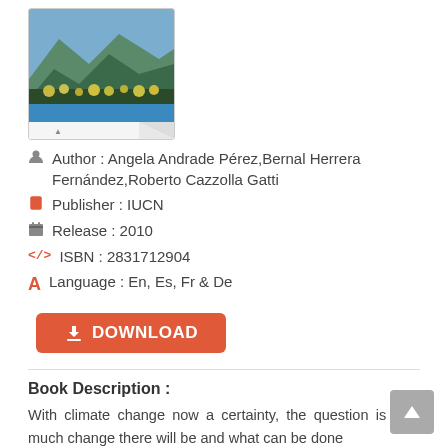[Figure (photo): Book cover showing a mountain landscape with trees, blue strip at the bottom and a small logo.]
Author : Angela Andrade Pérez,Bernal Herrera Fernández,Roberto Cazzolla Gatti
Publisher : IUCN
Release : 2010
ISBN : 2831712904
Language : En, Es, Fr & De
Book Description :
With climate change now a certainty, the question is how much change there will be and what can be done